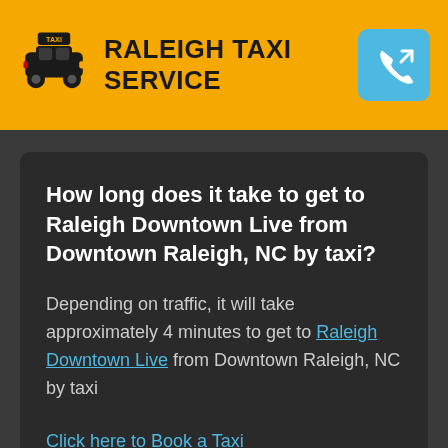RALEIGH TAXI SERVICE
How long does it take to get to Raleigh Downtown Live from Downtown Raleigh, NC by taxi?
Depending on traffic, it will take approximately 4 minutes to get to Raleigh Downtown Live from Downtown Raleigh, NC by taxi
Click here to Book a Taxi